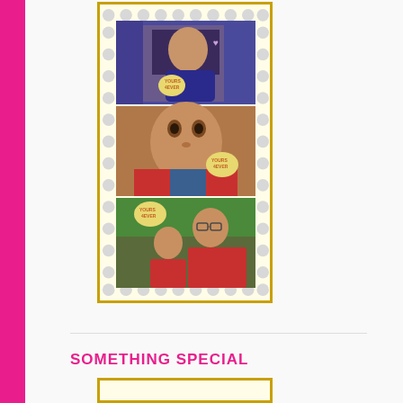[Figure (photo): A photo strip with three photos inside a stamp-bordered frame with gold border. Top photo shows a person holding a 'YOURS 4EVER' heart sign. Middle photo shows a baby/toddler close-up with a 'YOURS 4EVER' heart overlay. Bottom photo shows a toddler and adult man in red shirts with 'YOURS 4EVER' heart overlay. The strip has a polka-dot stamp-perforated border design.]
SOMETHING SPECIAL
[Figure (photo): Partial view of another gold-bordered photo frame at the bottom of the page.]